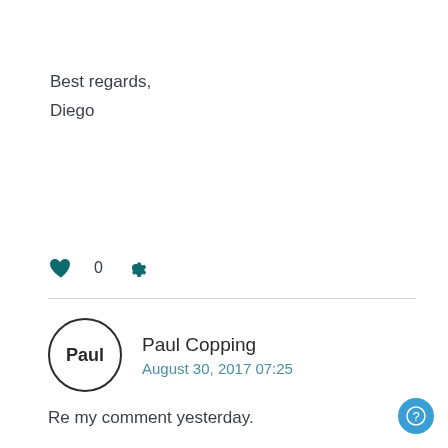Best regards,
Diego
[Figure (other): Heart like icon with count 0 and gear/settings icon]
Paul Copping
August 30, 2017 07:25
Re my comment yesterday.